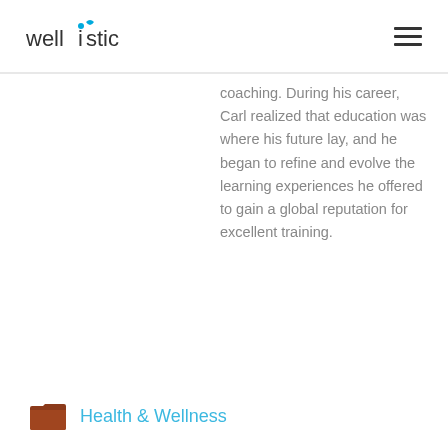wellistic
coaching. During his career, Carl realized that education was where his future lay, and he began to refine and evolve the learning experiences he offered to gain a global reputation for excellent training.
Health & Wellness